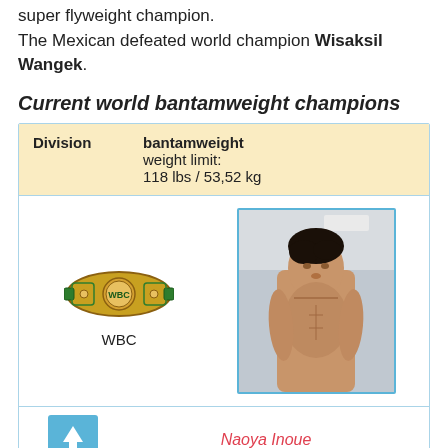super flyweight champion. The Mexican defeated world champion Wisaksil Wangek.
Current world bantamweight champions
| Division |  |
| --- | --- |
| Division | bantamweight
weight limit:
118 lbs / 53,52 kg |
| WBC belt + photo | Naoya Inoue |